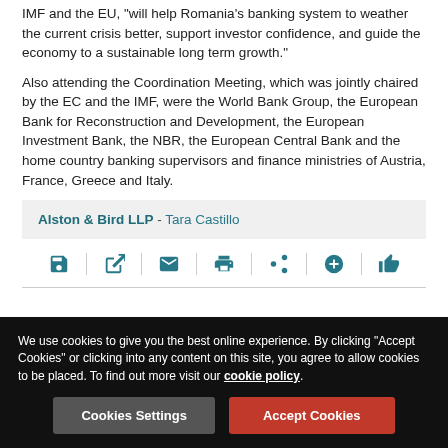IMF and the EU, "will help Romania's banking system to weather the current crisis better, support investor confidence, and guide the economy to a sustainable long term growth."
Also attending the Coordination Meeting, which was jointly chaired by the EC and the IMF, were the World Bank Group, the European Bank for Reconstruction and Development, the European Investment Bank, the NBR, the European Central Bank and the home country banking supervisors and finance ministries of Austria, France, Greece and Italy.
Alston & Bird LLP - Tara Castillo
[Figure (infographic): Row of action icons: save, open/external link, email, print, share, add/plus, thumbs up — separated by vertical dividers]
We use cookies to give you the best online experience. By clicking "Accept Cookies" or clicking into any content on this site, you agree to allow cookies to be placed. To find out more visit our cookie policy.